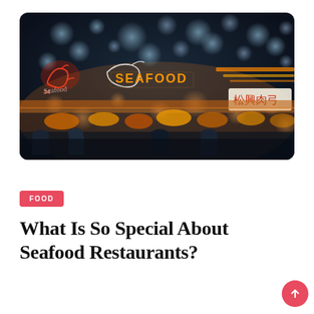[Figure (photo): Night market seafood scene with neon signs reading SEAFOOD, a neon shrimp illustration, Chinese characters on a sign, and crowds of people browsing illuminated food stalls with bokeh lights in background.]
FOOD
What Is So Special About Seafood Restaurants?